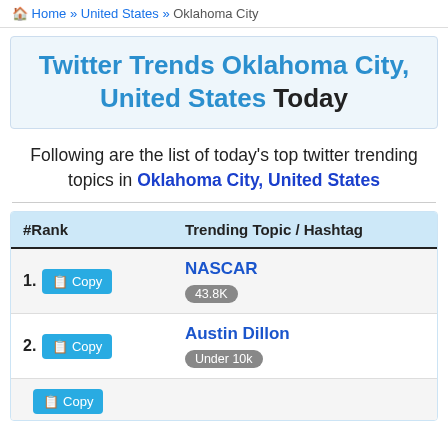Home » United States » Oklahoma City
Twitter Trends Oklahoma City, United States Today
Following are the list of today's top twitter trending topics in Oklahoma City, United States
| #Rank | Trending Topic / Hashtag |
| --- | --- |
| 1. Copy | NASCAR
43.8K |
| 2. Copy | Austin Dillon
Under 10k |